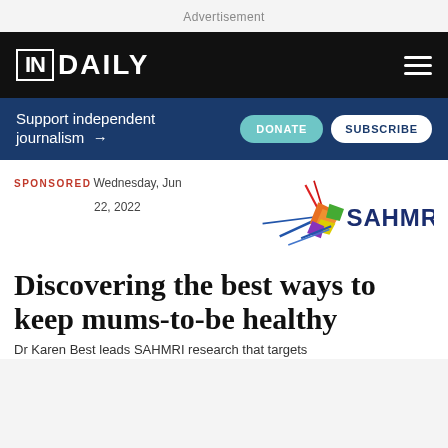Advertisement
[Figure (logo): InDaily logo on black navigation bar with hamburger menu icon]
Support independent journalism → DONATE SUBSCRIBE
SPONSORED Wednesday, Jun 22, 2022
[Figure (logo): SAHMRI logo with colorful geometric bird/cross shape and SAHMRI text in dark blue]
Discovering the best ways to keep mums-to-be healthy
Dr Karen Best leads SAHMRI research that targets